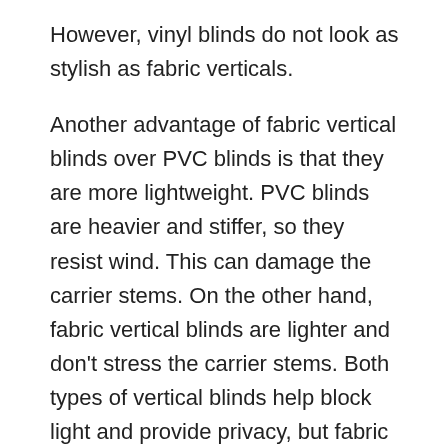However, vinyl blinds do not look as stylish as fabric verticals.
Another advantage of fabric vertical blinds over PVC blinds is that they are more lightweight. PVC blinds are heavier and stiffer, so they resist wind. This can damage the carrier stems. On the other hand, fabric vertical blinds are lighter and don't stress the carrier stems. Both types of vertical blinds help block light and provide privacy, but fabric ones are more comfortable to use. This is why so many people switch to fabric vertical blinds for their home windows.
When choosing vertical blinds, your window size is the most important consideration. A wider window will require a wider slat width and vice versa. You can order a one-way or split-draw vertical blind to customize the look. You